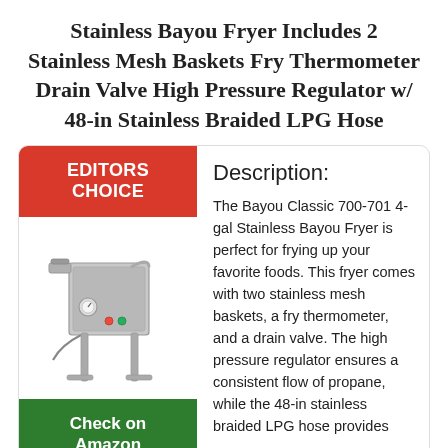Stainless Bayou Fryer Includes 2 Stainless Mesh Baskets Fry Thermometer Drain Valve High Pressure Regulator w/ 48-in Stainless Braided LPG Hose
[Figure (photo): Photo of Bayou Classic 700-701 4-gal Stainless Bayou Fryer, a tall stainless steel outdoor propane fryer on legs with two mesh baskets and gauges visible.]
Description:
The Bayou Classic 700-701 4-gal Stainless Bayou Fryer is perfect for frying up your favorite foods. This fryer comes with two stainless mesh baskets, a fry thermometer, and a drain valve. The high pressure regulator ensures a consistent flow of propane, while the 48-in stainless braided LPG hose provides